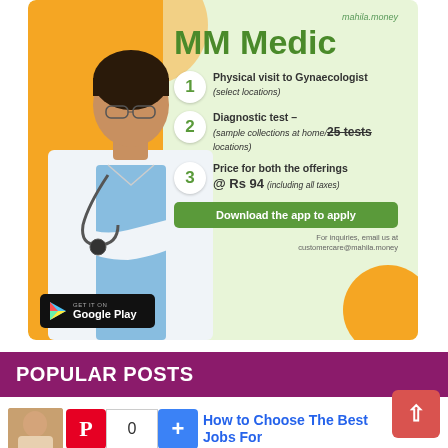[Figure (infographic): MM Medic advertisement card from mahila.money showing a female doctor, three numbered service items (1. Physical visit to Gynaecologist - select locations, 2. Diagnostic test – sample collections at home/25 tests strikethrough, 3. Price for both the offerings @ Rs 94 including all taxes), a Google Play download button, and inquiry email customercare@mahila.money]
POPULAR POSTS
[Figure (photo): Thumbnail of a woman, partial view]
0
How to Choose The Best Jobs For